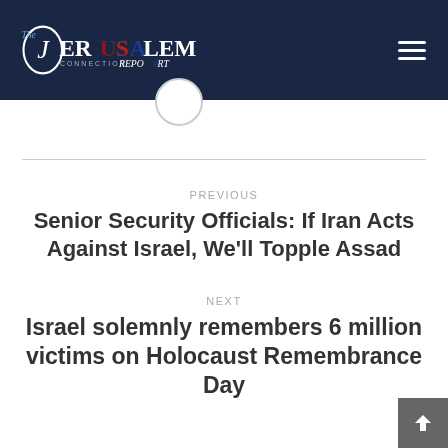[Figure (logo): The Jerusalem Connection Report logo on dark navy background with hamburger menu icon]
PREVIOUS
Senior Security Officials: If Iran Acts Against Israel, We'll Topple Assad
NEXT
Israel solemnly remembers 6 million victims on Holocaust Remembrance Day